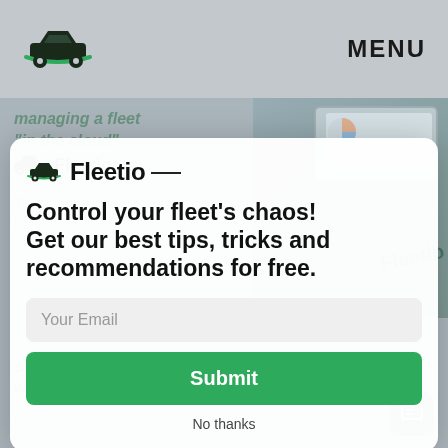[Figure (screenshot): Mobile website screenshot of Fleetio fleet management software website with navigation bar showing Fleetio logo and MENU button]
[Figure (screenshot): Modal popup overlay on the Fleetio website asking users to subscribe for fleet management tips]
Control your fleet's chaos! Get our best tips, tricks and recommendations for free.
Your Email
Submit
No thanks